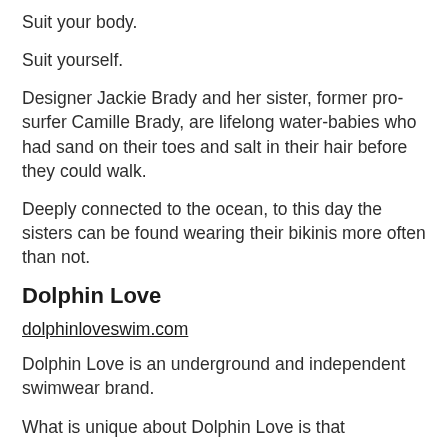Suit your body.
Suit yourself.
Designer Jackie Brady and her sister, former pro-surfer Camille Brady, are lifelong water-babies who had sand on their toes and salt in their hair before they could walk.
Deeply connected to the ocean, to this day the sisters can be found wearing their bikinis more often than not.
Dolphin Love
dolphinloveswim.com
Dolphin Love is an underground and independent swimwear brand.
What is unique about Dolphin Love is that